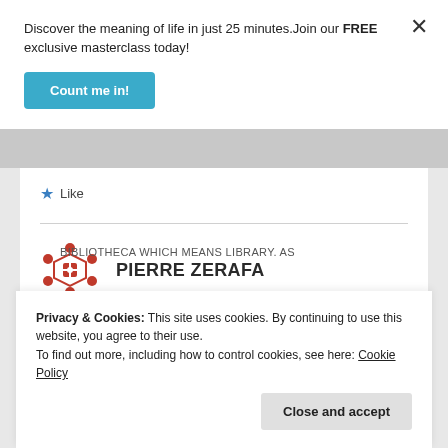Discover the meaning of life in just 25 minutes.Join our FREE exclusive masterclass today!
Count me in!
★ Like
[Figure (logo): Pierre Zerafa red ornamental logo mark]
PIERRE ZERAFA
April 15, 2021 at 3:37 am
Privacy & Cookies: This site uses cookies. By continuing to use this website, you agree to their use.
To find out more, including how to control cookies, see here: Cookie Policy
Close and accept
BIBLIOTHECA which means LIBRARY. As